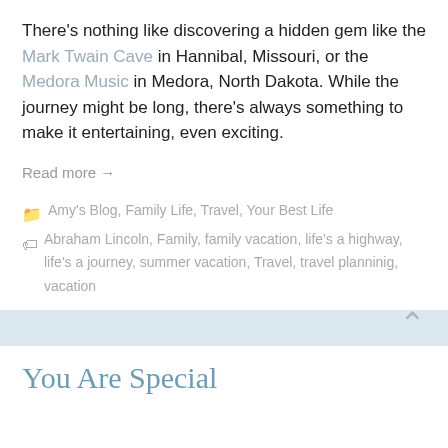There's nothing like discovering a hidden gem like the Mark Twain Cave in Hannibal, Missouri, or the Medora Music in Medora, North Dakota. While the journey might be long, there's always something to make it entertaining, even exciting.
Read more →
Amy's Blog, Family Life, Travel, Your Best Life
Abraham Lincoln, Family, family vacation, life's a highway, life's a journey, summer vacation, Travel, travel planninig, vacation
You Are Special